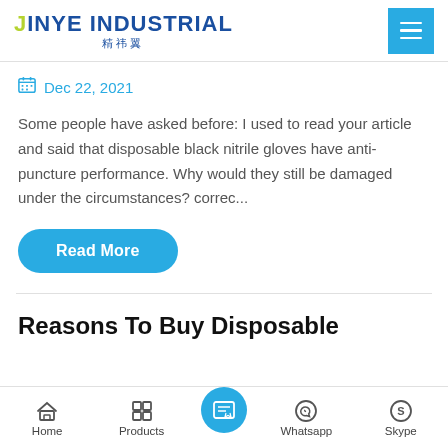JINYE INDUSTRIAL 精祎翼
Dec 22, 2021
Some people have asked before: I used to read your article and said that disposable black nitrile gloves have anti-puncture performance. Why would they still be damaged under the circumstances? correc...
Read More
Reasons To Buy Disposable
Home | Products | [center button] | Whatsapp | Skype